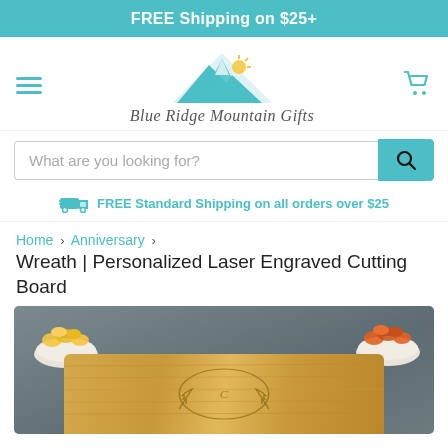FREE Shipping on $25+
[Figure (logo): Blue Ridge Mountain Gifts logo with teal mountain and sun illustration above stylized script text]
What are you looking for?
FREE Standard Shipping on all orders over $25
Home › Anniversary › Wreath | Personalized Laser Engraved Cutting Board
[Figure (photo): A wooden cutting board with laser engraved wreath design, with two white bowls containing yellow and orange vegetables on a dark slate background]